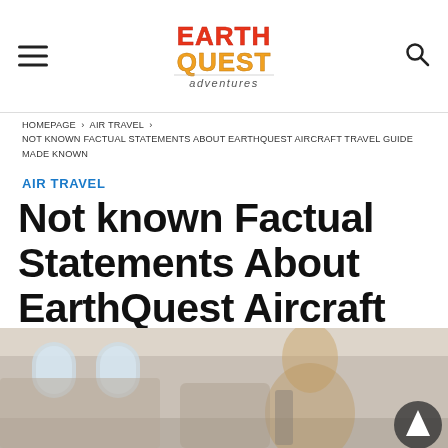EarthQuest Adventures — hamburger menu, logo, search icon
HOMEPAGE › AIR TRAVEL › NOT KNOWN FACTUAL STATEMENTS ABOUT EARTHQUEST AIRCRAFT TRAVEL GUIDE MADE KNOWN
AIR TRAVEL
Not known Factual Statements About EarthQuest Aircraft Travel Guide Made Known
[Figure (photo): Photograph of airplane interior cabin with passenger seats, oval windows, and a person visible in the background]